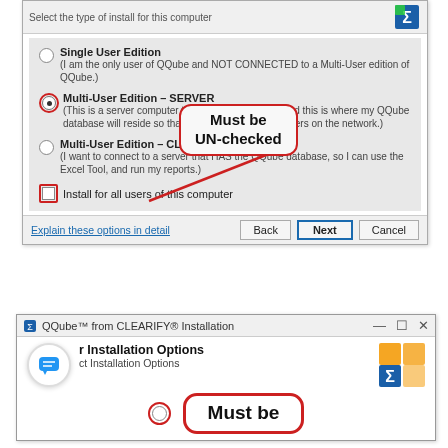[Figure (screenshot): Windows installer dialog showing install type options: Single User Edition, Multi-User Edition - SERVER (selected with red circle), Multi-User Edition - CLIENT, and Install for all users checkbox (unchecked, circled in red). A callout bubble says 'Must be UN-checked'. Footer has Back, Next, Cancel buttons.]
[Figure (screenshot): Partial bottom screenshot of QQube from CLEARIFY Installation window showing 'User Installation Options' heading, chat bubble icon, QQube logo, and a 'Must be' callout beginning to appear.]